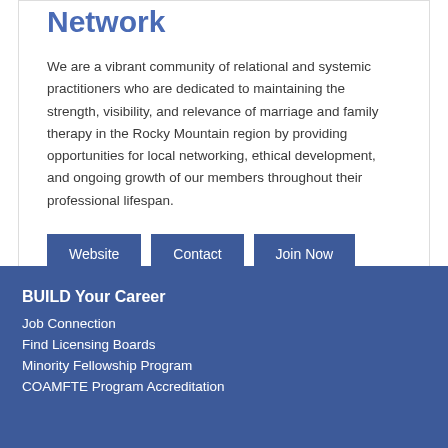Network
We are a vibrant community of relational and systemic practitioners who are dedicated to maintaining the strength, visibility, and relevance of marriage and family therapy in the Rocky Mountain region by providing opportunities for local networking, ethical development, and ongoing growth of our members throughout their professional lifespan.
Website
Contact
Join Now
BUILD Your Career
Job Connection
Find Licensing Boards
Minority Fellowship Program
COAMFTE Program Accreditation